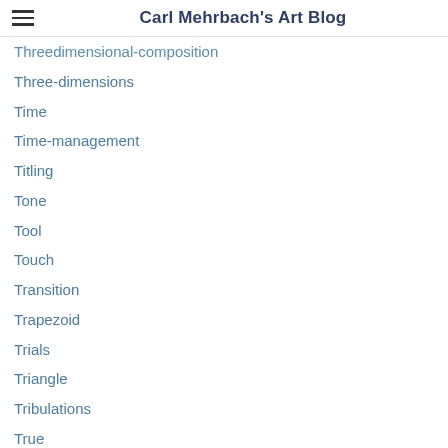Carl Mehrbach's Art Blog
Threedimensional-composition
Three-dimensions
Time
Time-management
Titling
Tone
Tool
Touch
Transition
Trapezoid
Trials
Triangle
Tribulations
True
Trust
Truth
Two-dimensional
Two-dimensional-composition